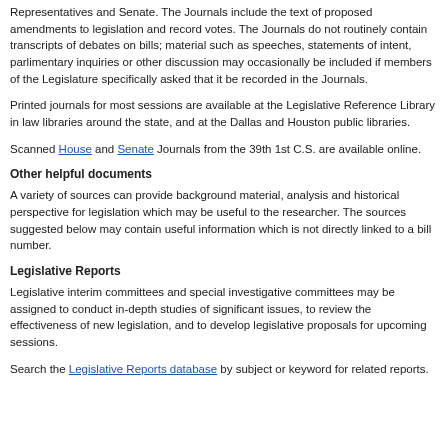Representatives and Senate. The Journals include the text of proposed amendments to legislation and record votes. The Journals do not routinely contain transcripts of debates on bills; material such as speeches, statements of intent, parlimentary inquiries or other discussion may occasionally be included if members of the Legislature specifically asked that it be recorded in the Journals.
Printed journals for most sessions are available at the Legislative Reference Library in law libraries around the state, and at the Dallas and Houston public libraries.
Scanned House and Senate Journals from the 39th 1st C.S. are available online.
Other helpful documents
A variety of sources can provide background material, analysis and historical perspective for legislation which may be useful to the researcher. The sources suggested below may contain useful information which is not directly linked to a bill number.
Legislative Reports
Legislative interim committees and special investigative committees may be assigned to conduct in-depth studies of significant issues, to review the effectiveness of new legislation, and to develop legislative proposals for upcoming sessions.
Search the Legislative Reports database by subject or keyword for related reports.